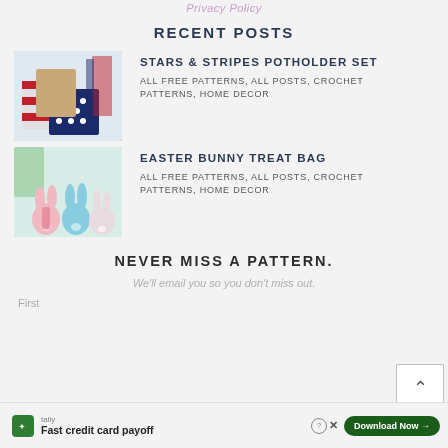Privacy Policy
RECENT POSTS
[Figure (photo): Crochet potholder set with stars and stripes pattern in red, white, and blue]
STARS & STRIPES POTHOLDER SET
ALL FREE PATTERNS, ALL POSTS, CROCHET PATTERNS, HOME DECOR
[Figure (photo): Easter bunny treat bags in pink and blue with bunny ear and tail design]
EASTER BUNNY TREAT BAG
ALL FREE PATTERNS, ALL POSTS, CROCHET PATTERNS, HOME DECOR
NEVER MISS A PATTERN.
We'll email you so you don't miss out.
First
Tally — Fast credit card payoff | Download Now